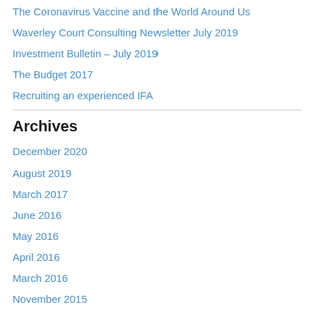The Coronavirus Vaccine and the World Around Us
Waverley Court Consulting Newsletter July 2019
Investment Bulletin – July 2019
The Budget 2017
Recruiting an experienced IFA
Archives
December 2020
August 2019
March 2017
June 2016
May 2016
April 2016
March 2016
November 2015
May 2015
November 2014
September 2014